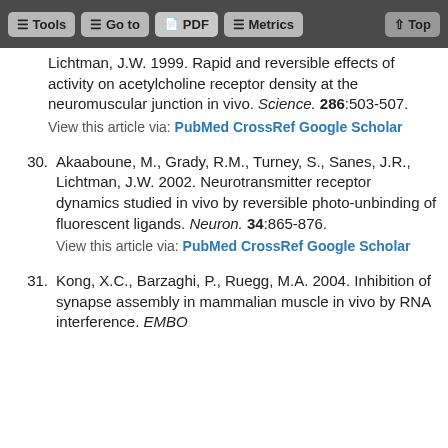Tools  Go to  PDF  Metrics  Top
Lichtman, J.W. 1999. Rapid and reversible effects of activity on acetylcholine receptor density at the neuromuscular junction in vivo. Science. 286:503-507.
View this article via: PubMed CrossRef Google Scholar
30. Akaaboune, M., Grady, R.M., Turney, S., Sanes, J.R., Lichtman, J.W. 2002. Neurotransmitter receptor dynamics studied in vivo by reversible photo-unbinding of fluorescent ligands. Neuron. 34:865-876.
View this article via: PubMed CrossRef Google Scholar
31. Kong, X.C., Barzaghi, P., Ruegg, M.A. 2004. Inhibition of synapse assembly in mammalian muscle in vivo by RNA interference. EMBO